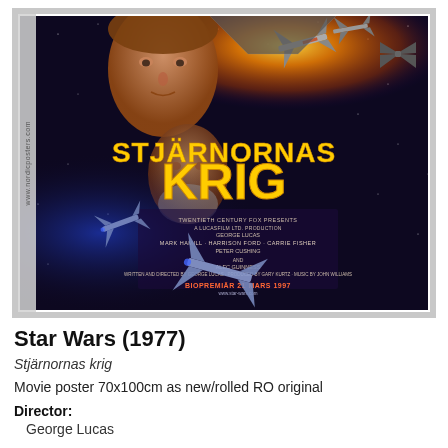[Figure (photo): Swedish Star Wars (Stjärnornas krig) movie poster from 1977. Features Luke Skywalker, Obi-Wan Kenobi, and space battle scenes. Title text 'STJÄRNORNAS KRIG' in large yellow letters. Credits include Mark Hamill, Harrison Ford, Carrie Fisher, Peter Cushing, Alec Guinness. Director George Lucas, Producer Gary Kurtz, Music John Williams. Biopremiär 21 mars 1997. Watermark: www.nordicposters.com]
Star Wars (1977)
Stjärnornas krig
Movie poster 70x100cm as new/rolled RO original
Director:
George Lucas